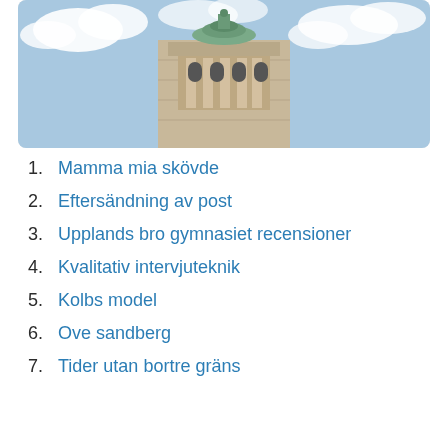[Figure (photo): Photo of the top of a large stone monument or tower with a green copper cupola, against a partly cloudy blue sky.]
1. Mamma mia skövde
2. Eftersändning av post
3. Upplands bro gymnasiet recensioner
4. Kvalitativ intervjuteknik
5. Kolbs model
6. Ove sandberg
7. Tider utan bortre gräns